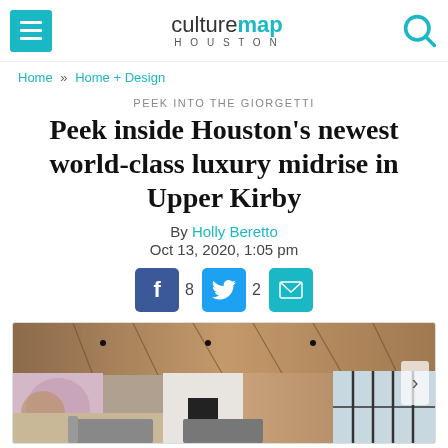culturemap HOUSTON
Home » Home + Design
PEEK INTO THE GIORGETTI
Peek inside Houston's newest world-class luxury midrise in Upper Kirby
By Holly Beretto
Oct 13, 2020, 1:05 pm
[Figure (photo): Interior photo of a luxury midrise living room with wood-paneled ceiling, marble fireplace wall, floor-to-ceiling windows, and modern furnishings]
Facebook 8, Twitter 2, Email share buttons